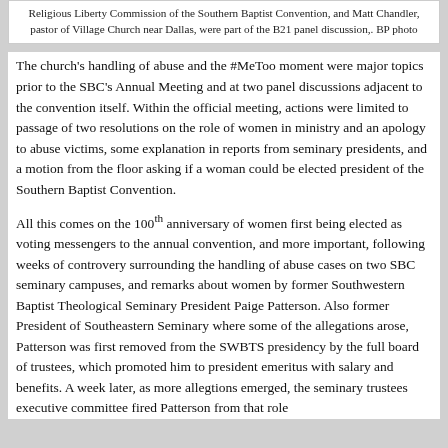Religious Liberty Commission of the Southern Baptist Convention, and Matt Chandler, pastor of Village Church near Dallas, were part of the B21 panel discussion,. BP photo
The church's handling of abuse and the #MeToo moment were major topics prior to the SBC's Annual Meeting and at two panel discussions adjacent to the convention itself. Within the official meeting, actions were limited to passage of two resolutions on the role of women in ministry and an apology to abuse victims, some explanation in reports from seminary presidents, and a motion from the floor asking if a woman could be elected president of the Southern Baptist Convention.
All this comes on the 100th anniversary of women first being elected as voting messengers to the annual convention, and more important, following weeks of controvery surrounding the handling of abuse cases on two SBC seminary campuses, and remarks about women by former Southwestern Baptist Theological Seminary President Paige Patterson. Also former President of Southeastern Seminary where some of the allegations arose, Patterson was first removed from the SWBTS presidency by the full board of trustees, which promoted him to president emeritus with salary and benefits. A week later, as more allegtions emerged, the seminary trustees executive committee fired Patterson from that role